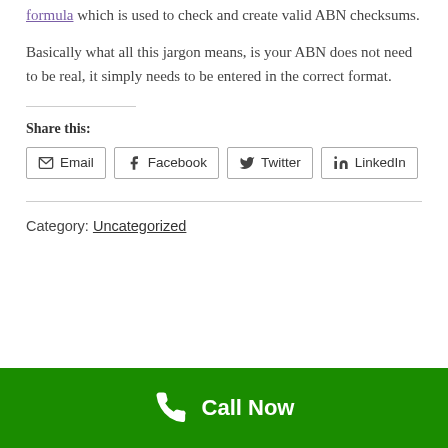formula which is used to check and create valid ABN checksums.
Basically what all this jargon means, is your ABN does not need to be real, it simply needs to be entered in the correct format.
Share this:
Email  Facebook  Twitter  LinkedIn
Category: Uncategorized
Call Now